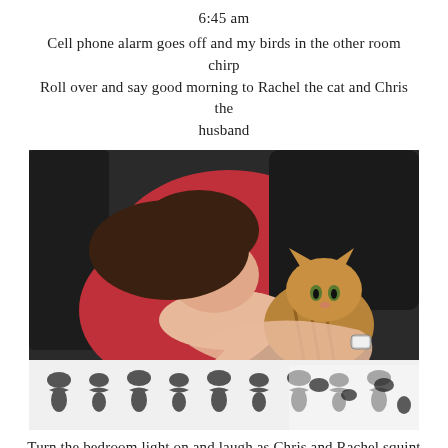6:45 am
Cell phone alarm goes off and my birds in the other room chirp
Roll over and say good morning to Rachel the cat and Chris the husband
[Figure (photo): A woman in a red top lying in bed hugging a tabby cat on a black and white patterned blanket, with red and dark pillows in the background.]
Turn the bedroom light on and laugh as Chris and Rachel squint their eyes cuz it's too bright